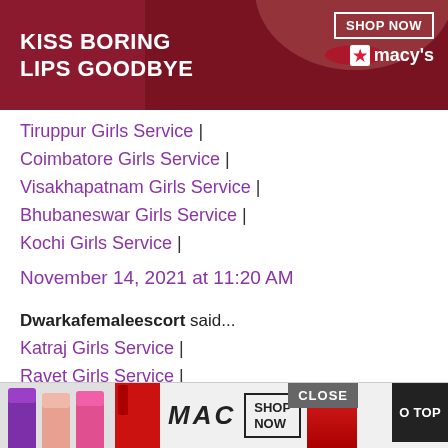[Figure (advertisement): Macy's lipstick advertisement banner with dark red background, woman's face, text 'KISS BORING LIPS GOODBYE', 'SHOP NOW' button, and Macy's star logo]
Tiruppur Girls Service |
Coimbatore Girls Service |
Visakhapatnam Girls Service |
Bhubaneswar Girls Service |
Kochi Girls Service |
November 14, 2021 at 11:20 AM
Dwarkafemaleescort said...
Katraj Girls Service |
Ravet Girls Service |
Aundh Girls Service |
Wakad Girls Service |
Baner Girls Service |
Vimannagar Girls Service |
[Figure (advertisement): MAC cosmetics lipstick advertisement banner at bottom with colorful lipsticks, MAC logo, SHOP NOW button, red lipstick, CLOSE button and GO TOP button]